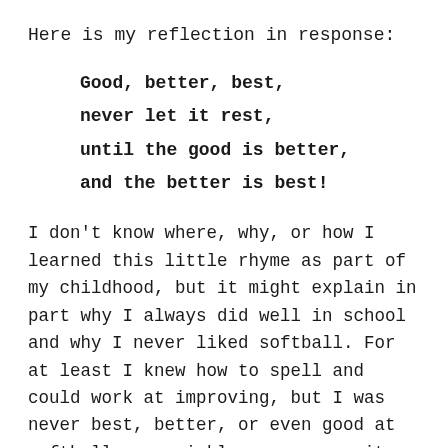Here is my reflection in response:
Good, better, best,
never let it rest,
until the good is better,
and the better is best!
I don't know where, why, or how I learned this little rhyme as part of my childhood, but it might explain in part why I always did well in school and why I never liked softball. For at least I knew how to spell and could work at improving, but I was never best, better, or even good at softball, so quickly gave up on it.
Now as an adult, I realize that many things in life run in the opposite direction of my childhood rhyme.
Last year on impulse I bought a beautiful fern, placed it in a bright spot away from direct sunlight as